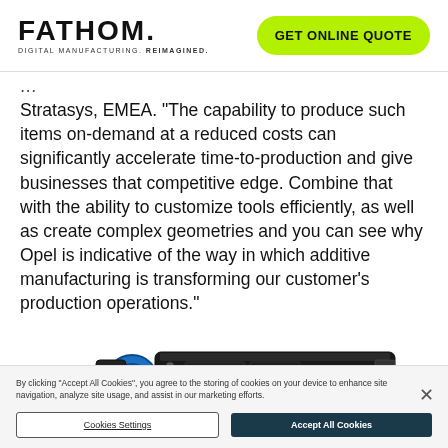FATHOM. DIGITAL MANUFACTURING. REIMAGINED. | GET ONLINE QUOTE
Stratasys, EMEA. “The capability to produce such items on-demand at a reduced costs can significantly accelerate time-to-production and give businesses that competitive edge. Combine that with the ability to customize tools efficiently, as well as create complex geometries and you can see why Opel is indicative of the way in which additive manufacturing is transforming our customer’s production operations.”
[Figure (photo): Industrial mechanical component (injection mold or actuator assembly) with black body, blue ring detail, and metallic fittings, photographed on white background]
By clicking “Accept All Cookies”, you agree to the storing of cookies on your device to enhance site navigation, analyze site usage, and assist in our marketing efforts.